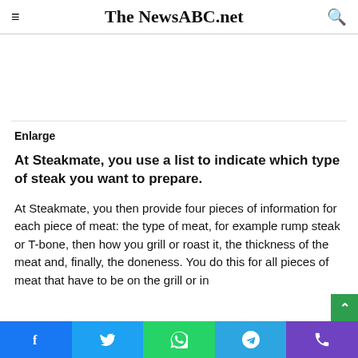≡ The NewsABC.net 🔍
[Figure (other): Advertisement placeholder white space area]
Enlarge
At Steakmate, you use a list to indicate which type of steak you want to prepare.
At Steakmate, you then provide four pieces of information for each piece of meat: the type of meat, for example rump steak or T-bone, then how you grill or roast it, the thickness of the meat and, finally, the doneness. You do this for all pieces of meat that have to be on the grill or in